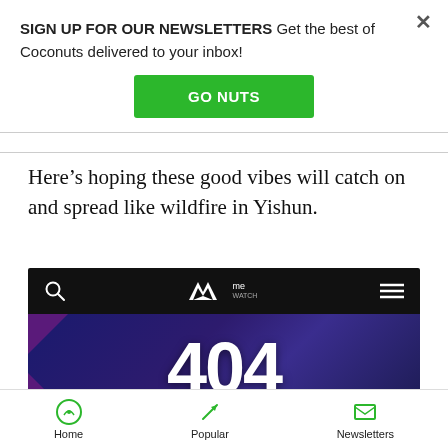SIGN UP FOR OUR NEWSLETTERS Get the best of Coconuts delivered to your inbox!
GO NUTS
Here’s hoping these good vibes will catch on and spread like wildfire in Yishun.
[Figure (screenshot): Screenshot of meWATCH website showing a 404 error page with text 'Sorry, this page doesn't exist!']
Home   Popular   Newsletters